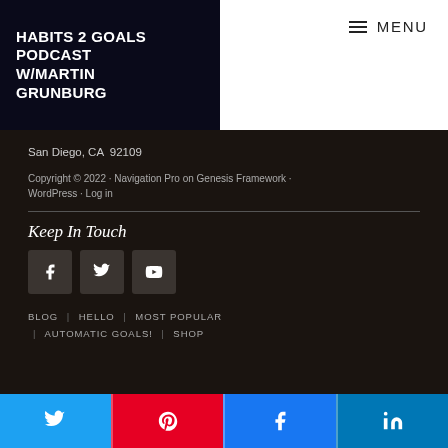HABITS 2 GOALS PODCAST W/MARTIN GRUNBURG
≡ MENU
San Diego, CA  92109
Copyright © 2022 · Navigation Pro on Genesis Framework · WordPress · Log in
Keep In Touch
[Figure (infographic): Social media icons: Facebook, Twitter, YouTube]
BLOG  |  HELLO  |  MOST POPULAR  |  AUTOMATIC GOALS!  |  SHOP
[Figure (infographic): Share buttons: Twitter (blue), Pinterest (red), Facebook (blue), LinkedIn (blue)]